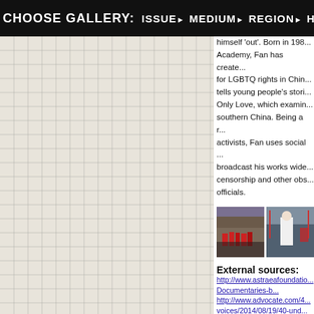CHOOSE GALLERY:  ISSUE▶  MEDIUM▶  REGION▶  HOW IT WORKS▶
[Figure (other): Grid/graph paper background on left side of page]
himself 'out'. Born in 198... Academy, Fan has create... for LGBTQ rights in Chin... tells young people's stori... Only Love, which examin... southern China. Being a r... activists, Fan uses social ... broadcast his works wide... censorship and other obs... officials.
[Figure (photo): Two photos: left shows a street scene with people in red costumes; right shows a figure in a white wedding dress outdoors.]
External sources:
http://www.astraeafoundatio... Documentaries-b... http://www.advocate.com/4... voices/2014/08/19/40-und...